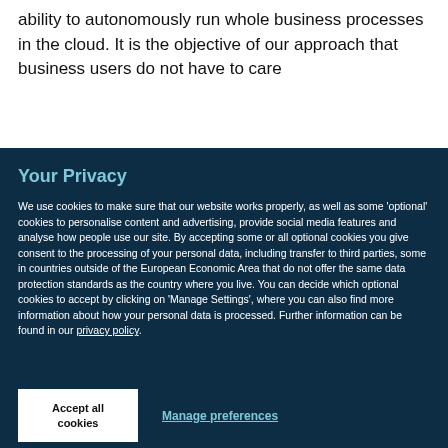ability to autonomously run whole business processes in the cloud. It is the objective of our approach that business users do not have to care
Your Privacy
We use cookies to make sure that our website works properly, as well as some 'optional' cookies to personalise content and advertising, provide social media features and analyse how people use our site. By accepting some or all optional cookies you give consent to the processing of your personal data, including transfer to third parties, some in countries outside of the European Economic Area that do not offer the same data protection standards as the country where you live. You can decide which optional cookies to accept by clicking on 'Manage Settings', where you can also find more information about how your personal data is processed. Further information can be found in our privacy policy.
Accept all cookies
Manage preferences